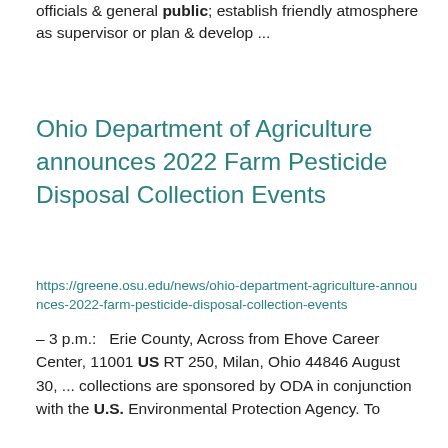officials & general public; establish friendly atmosphere as supervisor or plan & develop ...
Ohio Department of Agriculture announces 2022 Farm Pesticide Disposal Collection Events
https://greene.osu.edu/news/ohio-department-agriculture-announces-2022-farm-pesticide-disposal-collection-events
– 3 p.m.:  Erie County, Across from Ehove Career Center, 11001 US RT 250, Milan, Ohio 44846 August 30, ... collections are sponsored by ODA in conjunction with the U.S. Environmental Protection Agency. To